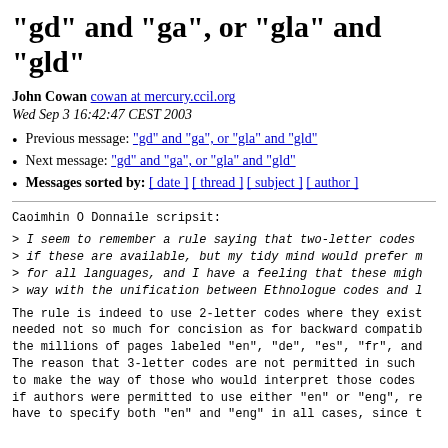"gd" and "ga", or "gla" and "gld"
John Cowan cowan at mercury.ccil.org
Wed Sep 3 16:42:47 CEST 2003
Previous message: "gd" and "ga", or "gla" and "gld"
Next message: "gd" and "ga", or "gla" and "gld"
Messages sorted by: [ date ] [ thread ] [ subject ] [ author ]
Caoimhin O Donnaile scripsit:
> I seem to remember a rule saying that two-letter codes
> if these are available, but my tidy mind would prefer m
> for all languages, and I have a feeling that these migh
> way with the unification between Ethnologue codes and l
The rule is indeed to use 2-letter codes where they exist
needed not so much for concision as for backward compatib
the millions of pages labeled "en", "de", "es", "fr", and
The reason that 3-letter codes are not permitted in such
to make the way of those who would interpret those codes
if authors were permitted to use either "en" or "eng", re
have to specify both "en" and "eng" in all cases, since t